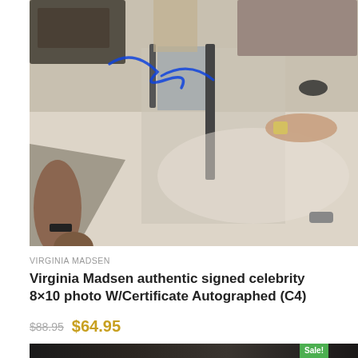[Figure (photo): Autographed celebrity photo of Virginia Madsen showing a woman in sunglasses in a convertible car with a blue autograph signature visible]
VIRGINIA MADSEN
Virginia Madsen authentic signed celebrity 8×10 photo W/Certificate Autographed (C4)
$88.95  $64.95
[Figure (photo): Bottom partial preview of another product photo showing a dark image with Sale! badge]